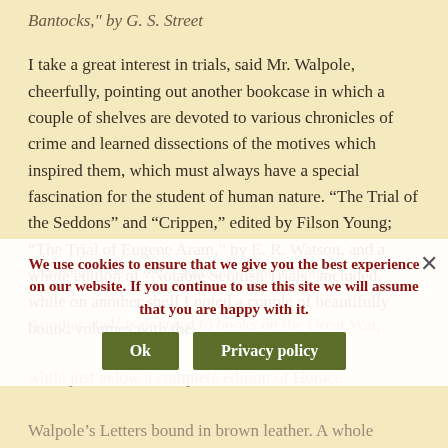Bantocks," by G. S. Street
I take a great interest in trials, said Mr. Walpole, cheerfully, pointing out another bookcase in which a couple of shelves are devoted to various chronicles of crime and learned dissections of the motives which inspired them, which must always have a special fascination for the student of human nature. “The Trial of the Seddons” and “Crippen,” edited by Filson Young; “The Trial of Eugene Aram,” by E. R. Watson, and a whole edition of “Notable Scottish Trials” included, while on another shelf I noted a couple of beautifully bound volumes with the gruesome title, “The Confessions of a Thug.”
Another shelf is devoted to books on the Great War, while just below a complete edition of Horace Walpole’s Letters bound in brown leather. A whole
We use cookies to ensure that we give you the best experience on our website. If you continue to use this site we will assume that you are happy with it.